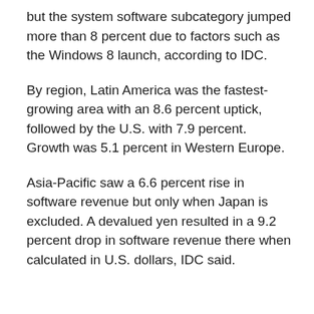but the system software subcategory jumped more than 8 percent due to factors such as the Windows 8 launch, according to IDC.
By region, Latin America was the fastest-growing area with an 8.6 percent uptick, followed by the U.S. with 7.9 percent. Growth was 5.1 percent in Western Europe.
Asia-Pacific saw a 6.6 percent rise in software revenue but only when Japan is excluded. A devalued yen resulted in a 9.2 percent drop in software revenue there when calculated in U.S. dollars, IDC said.